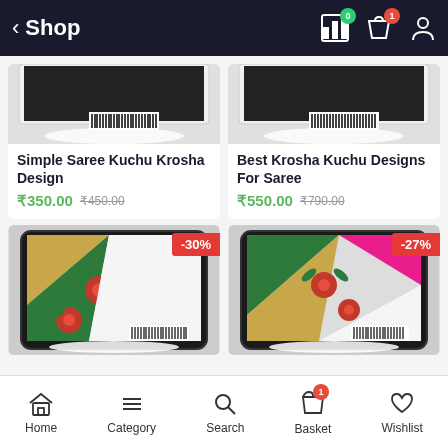Shop
Simple Saree Kuchu Krosha Design
₹350.00  ₹450.00
Best Krosha Kuchu Designs For Saree
₹550.00  ₹790.00
[Figure (screenshot): Tablet showing saree kuchu design with -30% badge]
[Figure (screenshot): Tablet showing krosha kuchu design with -27% badge]
Home  Category  Search  Basket  Wishlist